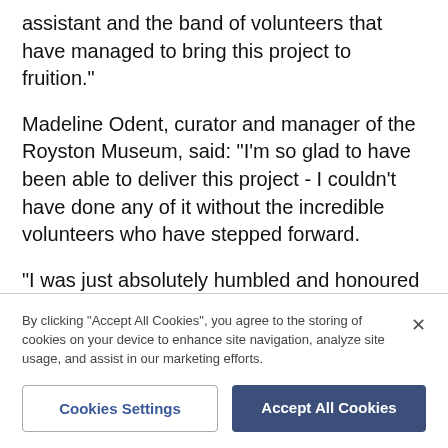assistant and the band of volunteers that have managed to bring this project to fruition."
Madeline Odent, curator and manager of the Royston Museum, said: "I'm so glad to have been able to deliver this project - I couldn't have done any of it without the incredible volunteers who have stepped forward.
"I was just absolutely humbled and honoured when Jane Vincent - curator who began the whole project - returned from her retirement to congratulate me at the reveal. I'm grateful to those who have dedicated decades to the project.
By clicking "Accept All Cookies", you agree to the storing of cookies on your device to enhance site navigation, analyze site usage, and assist in our marketing efforts.
Cookies Settings
Accept All Cookies